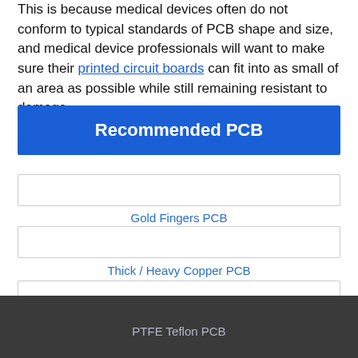This is because medical devices often do not conform to typical standards of PCB shape and size, and medical device professionals will want to make sure their printed circuit boards can fit into as small of an area as possible while still remaining resistant to damage.
Recommended PCB
Gold Fingers PCB
Thick / Heavy Copper PCB
Impedance Control PCB
PTFE Teflon PCB